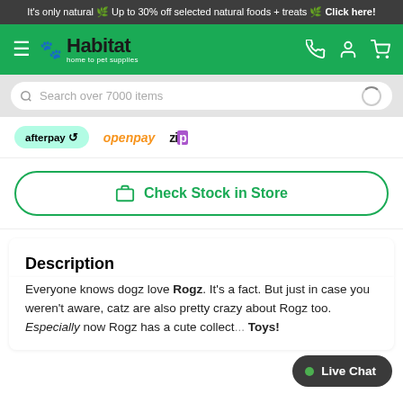It's only natural 🌿 Up to 30% off selected natural foods + treats 🌿 Click here!
[Figure (logo): Habitat pet supplies website header with green background, hamburger menu, paw icon, Habitat logo, phone, account, and cart icons]
[Figure (screenshot): Search bar reading 'Search over 7000 items' with search icon and spinner]
[Figure (logo): Payment options logos: afterpay, openpay, zip]
Check Stock in Store
Description
Everyone knows dogz love Rogz. It's a fact. But just in case you weren't aware, catz are also pretty crazy about Rogz too. Especially now Rogz has a cute collect... Toys!